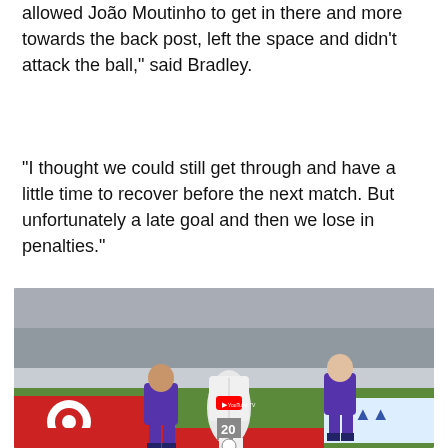allowed Joao Moutinho to get in there and more towards the back post, left the space and didn't attack the ball," said Bradley.
"I thought we could still get through and have a little time to recover before the next match. But unfortunately a late goal and then we lose in penalties."
[Figure (photo): Soccer match photo showing players in purple uniforms competing against a player in white uniform with number 20, on a grass field with Target and YouTube TV advertising boards visible.]